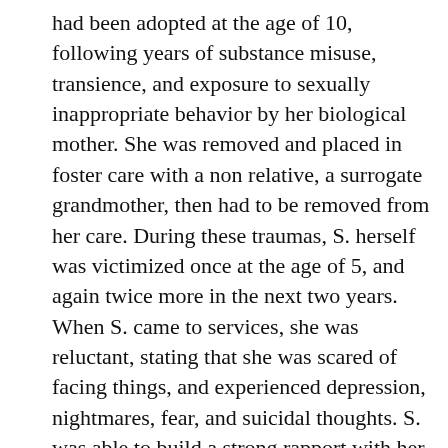had been adopted at the age of 10, following years of substance misuse, transience, and exposure to sexually inappropriate behavior by her biological mother. She was removed and placed in foster care with a non relative, a surrogate grandmother, then had to be removed from her care. During these traumas, S. herself was victimized once at the age of 5, and again twice more in the next two years. When S. came to services, she was reluctant, stating that she was scared of facing things, and experienced depression, nightmares, fear, and suicidal thoughts. S. was able to build a strong rapport with her therapist, and to begin to talk about her experiences in a safe, non-judgmental, relaxed way. In time she began sleeping better, coping better, and making better choices. S. participated in a therapy known as TIR, Traumatic Incident Reduction, with her therapist, which lead to a change in her perspective